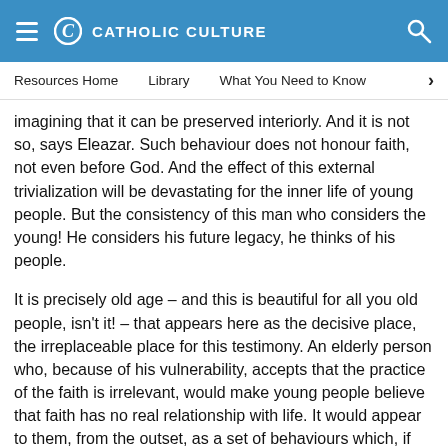CATHOLIC CULTURE
Resources Home   Library   What You Need to Know
imagining that it can be preserved interiorly. And it is not so, says Eleazar. Such behaviour does not honour faith, not even before God. And the effect of this external trivialization will be devastating for the inner life of young people. But the consistency of this man who considers the young! He considers his future legacy, he thinks of his people.
It is precisely old age – and this is beautiful for all you old people, isn't it! – that appears here as the decisive place, the irreplaceable place for this testimony. An elderly person who, because of his vulnerability, accepts that the practice of the faith is irrelevant, would make young people believe that faith has no real relationship with life. It would appear to them, from the outset, as a set of behaviours which, if